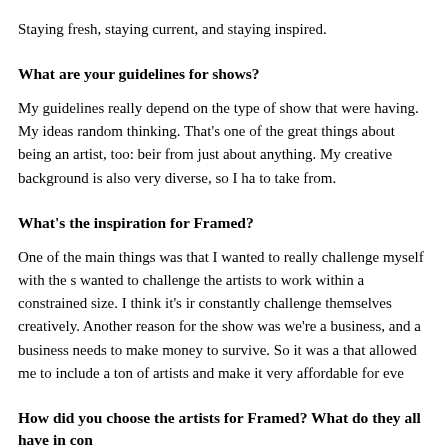Staying fresh, staying current, and staying inspired.
What are your guidelines for shows?
My guidelines really depend on the type of show that were having. My ideas random thinking. That's one of the great things about being an artist, too: beir from just about anything. My creative background is also very diverse, so I ha to take from.
What's the inspiration for Framed?
One of the main things was that I wanted to really challenge myself with the s wanted to challenge the artists to work within a constrained size. I think it's ir constantly challenge themselves creatively. Another reason for the show was we're a business, and a business needs to make money to survive. So it was a that allowed me to include a ton of artists and make it very affordable for eve
How did you choose the artists for Framed? What do they all have in con